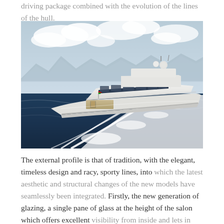driving package combined with the evolution of the lines of the hull.
[Figure (photo): Aerial/side view of a large white luxury motor yacht speeding through blue ocean water, creating a large white wake. The yacht has multiple decks, satellite domes on top, and large glass windows. Mountains and cloudy sky visible in background.]
The external profile is that of tradition, with the elegant, timeless design and racy, sporty lines, into which the latest aesthetic and structural changes of the new models have seamlessly been integrated. Firstly, the new generation of glazing, a single pane of glass at the height of the salon which offers excellent visibility from inside and lets in copious amounts of